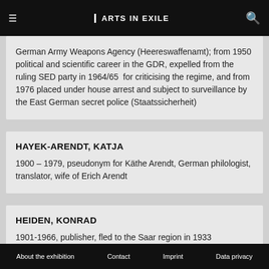ARTS IN EXILE
German Army Weapons Agency (Heereswaffenamt); from 1950 political and scientific career in the GDR, expelled from the ruling SED party in 1964/65 for criticising the regime, and from 1976 placed under house arrest and subject to surveillance by the East German secret police (Staatssicherheit)
HAYEK-ARENDT, KATJA
1900 – 1979, pseudonym for Käthe Arendt, German philologist, translator, wife of Erich Arendt
HEIDEN, KONRAD
1901-1966, publisher, fled to the Saar region in 1933
About the exhibition   Contact   Imprint   Data privacy